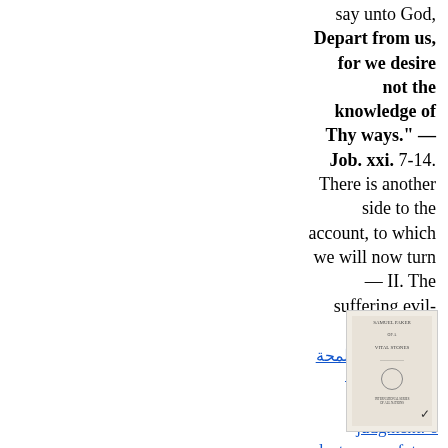say unto God, Depart from us, for we desire not the knowledge of Thy ways." — Job. xxi. 7-14. There is another side to the account, to which we will now turn — II. The suffering evil-doers....
عرض كامل - لمحة عن هذا الكتاب
Righteous judgment: 6 lectures on future punishment
Flavel Smith
1878 - Cook
...experience.